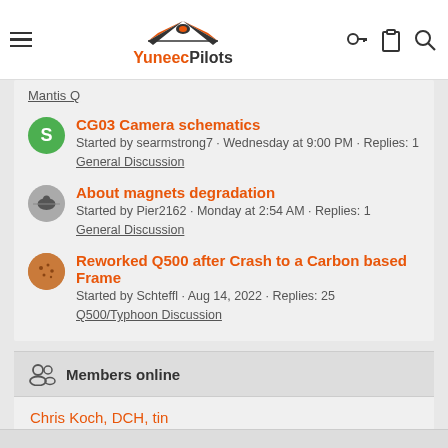YuneecPilots
Mantis Q
CG03 Camera schematics
Started by searmstrong7 · Wednesday at 9:00 PM · Replies: 1
General Discussion
About magnets degradation
Started by Pier2162 · Monday at 2:54 AM · Replies: 1
General Discussion
Reworked Q500 after Crash to a Carbon based Frame
Started by Schteffl · Aug 14, 2022 · Replies: 25
Q500/Typhoon Discussion
Members online
Chris Koch, DCH, tin
Total: 27 (members: 3, guests: 24)